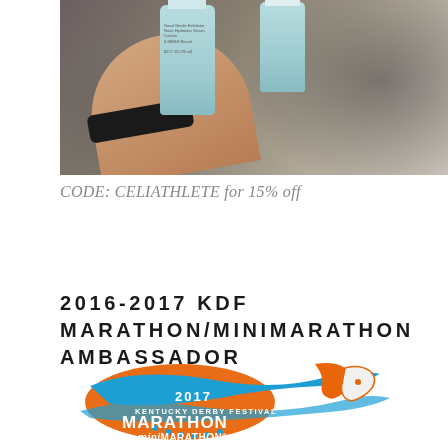[Figure (photo): A hand holding two teal/mint colored skincare product bottles, with a black fitness tracker band on the wrist. Background is blurred dark/grey tones.]
CODE: CELIATHLETE for 15% off
2016-2017 KDF MARATHON/MINIMARATHON AMBASSADOR
[Figure (logo): 2017 Kentucky Derby Festival Marathon miniMarathon official race ambassador logo with orange and blue pegasus/horse imagery]